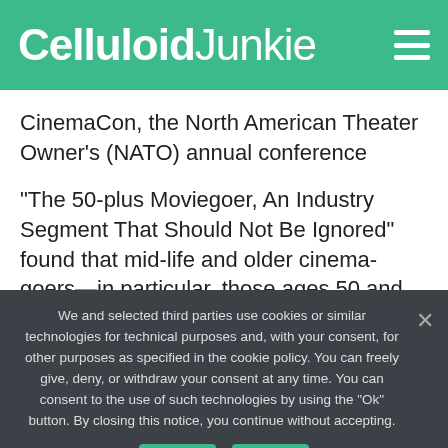Celluloid Junkie
CinemaCon, the North American Theater Owner's (NATO) annual conference
“The 50-plus Moviegoer, An Industry Segment That Should Not Be Ignored” found that mid-life and older cinema-goers—in particular, those ages 50 and older—are a powerful force at the box office. The 50-plus consumer group is bolstering blockbusters, driving drama film box
We and selected third parties use cookies or similar technologies for technical purposes and, with your consent, for other purposes as specified in the cookie policy. You can freely give, deny, or withdraw your consent at any time. You can consent to the use of such technologies by using the “Ok” button. By closing this notice, you continue without accepting.
Theater owners and studio executives from the insight